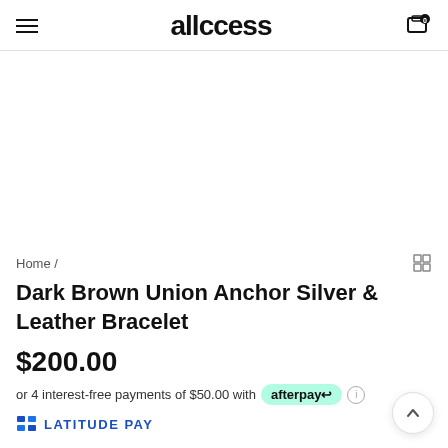allccess
[Figure (photo): Product image area (empty/white) for Dark Brown Union Anchor Silver & Leather Bracelet]
Home /
Dark Brown Union Anchor Silver & Leather Bracelet
$200.00
or 4 interest-free payments of $50.00 with afterpay
[Figure (logo): LATITUDE PAY logo]